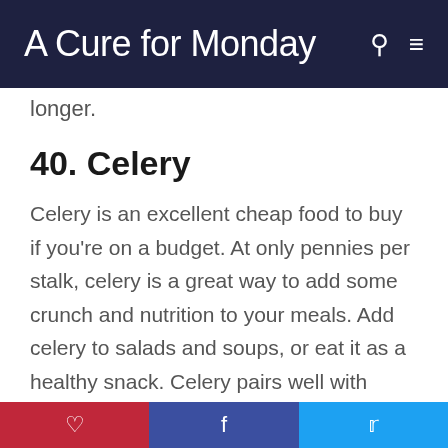A Cure for Monday
longer.
40. Celery
Celery is an excellent cheap food to buy if you're on a budget. At only pennies per stalk, celery is a great way to add some crunch and nutrition to your meals. Add celery to salads and soups, or eat it as a healthy snack. Celery pairs well with peanut butter or cream cheese. It is high
Pinterest | Facebook | Twitter